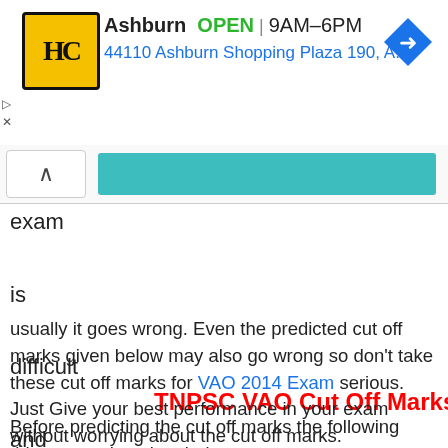[Figure (screenshot): Advertisement banner for HC store in Ashburn showing logo, OPEN status, hours 9AM-6PM, address 44110 Ashburn Shopping Plaza 190, A..., and navigation arrow icon]
exam is difficult and
TNPSC VAO Cut Off Marks 2014
usually it goes wrong. Even the predicted cut off marks given below may also go wrong so don't take these cut off marks for VAO 2014 Exam serious. Just Give your best performance in your exam without worrying about the cut off marks.
Before predicting the cut off marks the following things were kept in mind.